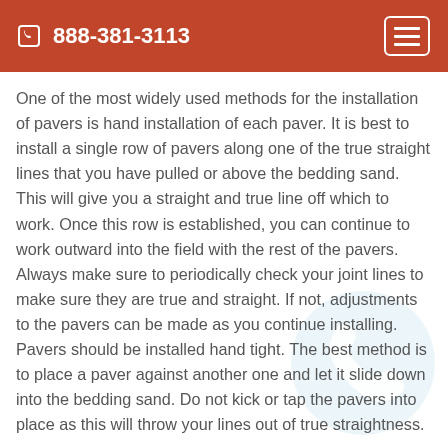888-381-3113
One of the most widely used methods for the installation of pavers is hand installation of each paver. It is best to install a single row of pavers along one of the true straight lines that you have pulled or above the bedding sand. This will give you a straight and true line off which to work. Once this row is established, you can continue to work outward into the field with the rest of the pavers. Always make sure to periodically check your joint lines to make sure they are true and straight. If not, adjustments to the pavers can be made as you continue installing. Pavers should be installed hand tight. The best method is to place a paver against another one and let it slide down into the bedding sand. Do not kick or tap the pavers into place as this will throw your lines out of true straightness.